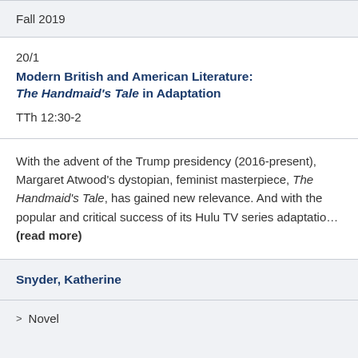Fall 2019
20/1
Modern British and American Literature: The Handmaid's Tale in Adaptation
TTh 12:30-2
With the advent of the Trump presidency (2016-present), Margaret Atwood's dystopian, feminist masterpiece, The Handmaid's Tale, has gained new relevance. And with the popular and critical success of its Hulu TV series adaptatio... (read more)
Snyder, Katherine
> Novel